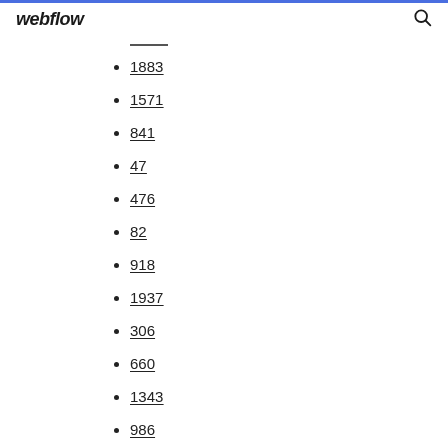webflow
1883
1571
841
47
476
82
918
1937
306
660
1343
986